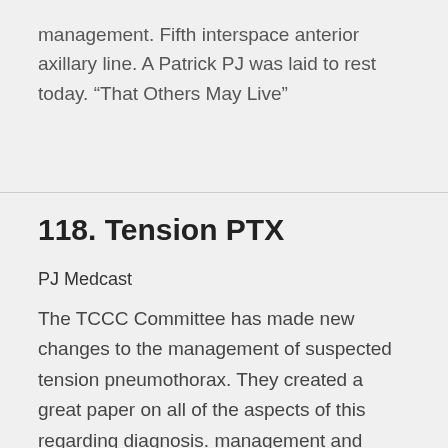management. Fifth interspace anterior axillary line. A Patrick PJ was laid to rest today. “That Others May Live”
118. Tension PTX
PJ Medcast
The TCCC Committee has made new changes to the management of suspected tension pneumothorax. They created a great paper on all of the aspects of this regarding diagnosis. management and controversial issues. This is Part 1. Regards from SOMSA.  Thanks to many folks for coming up and